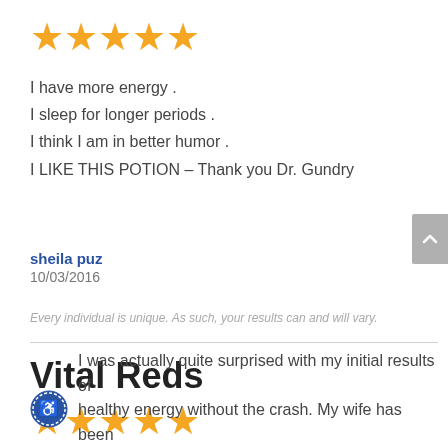[Figure (other): Five gold stars rating]
I have more energy .
I sleep for longer periods .
I think I am in better humor .
I LIKE THIS POTION – Thank you Dr. Gundry
sheila puz
10/03/2016
Every individual is unique. As such, your results can and will vary.
Vital Reds
[Figure (other): Five gold stars rating]
I was actually quite surprised with my initial results of healthy energy without the crash. My wife has been